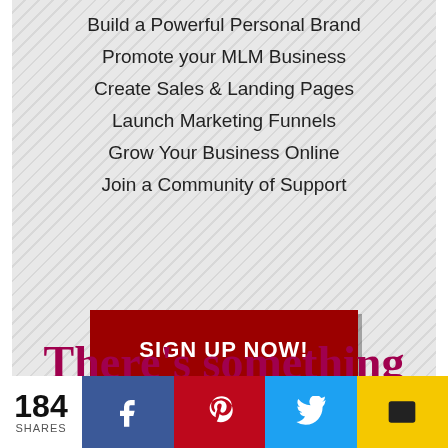Build a Powerful Personal Brand
Promote your MLM Business
Create Sales & Landing Pages
Launch Marketing Funnels
Grow Your Business Online
Join a Community of Support
[Figure (other): Red SIGN UP NOW! call-to-action button]
There's something special about a woman
[Figure (other): Social share bar with 184 shares, Facebook, Pinterest, Twitter and email buttons]